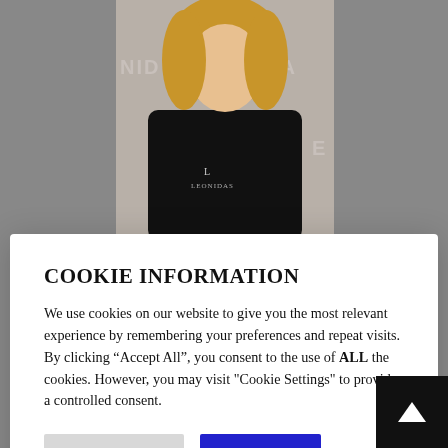[Figure (photo): Top photo of a woman with blonde wavy hair wearing a black t-shirt with a logo, standing in front of a backdrop with 'NIDA' text repeated.]
COOKIE INFORMATION
We use cookies on our website to give you the most relevant experience by remembering your preferences and repeat visits. By clicking “Accept All”, you consent to the use of ALL the cookies. However, you may visit "Cookie Settings" to provide a controlled consent.
Cookie Settings
Accept All
[Figure (photo): Bottom photo of a woman with long dark straight hair, standing in front of a backdrop with 'NIDA' text repeated.]